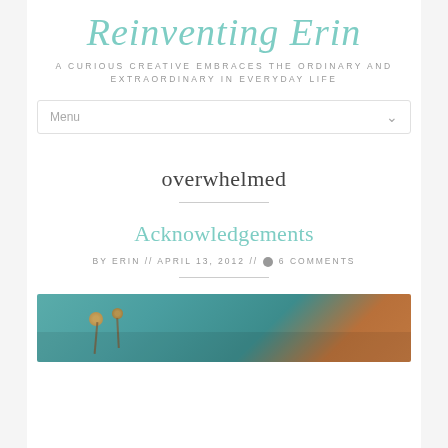Reinventing Erin
A CURIOUS CREATIVE EMBRACES THE ORDINARY AND EXTRAORDINARY IN EVERYDAY LIFE
Menu
overwhelmed
Acknowledgements
BY ERIN // APRIL 13, 2012 // 6 COMMENTS
[Figure (photo): Bokeh photo with teal/green background showing plant stems with round seed heads, warm brown tones on right side]